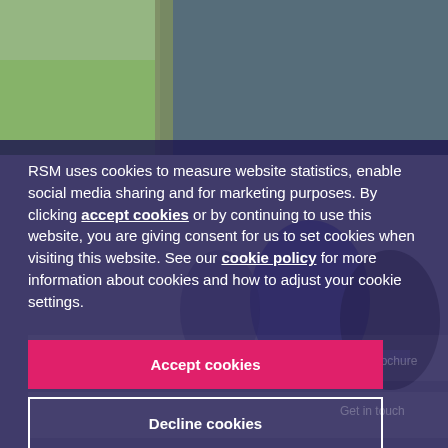[Figure (photo): Background showing a room with windows and blurred people, overlaid with a dark navy semi-transparent panel containing a cookie consent notice.]
RSM uses cookies to measure website statistics, enable social media sharing and for marketing purposes. By clicking accept cookies or by continuing to use this website, you are giving consent for us to set cookies when visiting this website. See our cookie policy for more information about cookies and how to adjust your cookie settings.
Accept cookies
Decline cookies